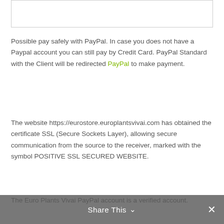[Figure (other): White rectangular box with border at top of page]
Possible pay safely with PayPal. In case you does not have a Paypal account you can still pay by Credit Card. PayPal Standard with the Client will be redirected PayPal to make payment.
The website https://eurostore.europlantsvivai.com has obtained the certificate SSL (Secure Sockets Layer), allowing secure communication from the source to the receiver, marked with the symbol POSITIVE SSL SECURED WEBSITE.
The Euro Plants Vivai PayPal account is a verified account.
Share This ∨  ✕